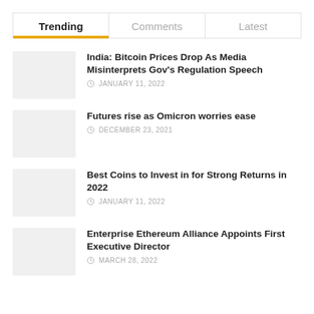Trending | Comments | Latest
India: Bitcoin Prices Drop As Media Misinterprets Gov's Regulation Speech
Futures rise as Omicron worries ease
Best Coins to Invest in for Strong Returns in 2022
Enterprise Ethereum Alliance Appoints First Executive Director